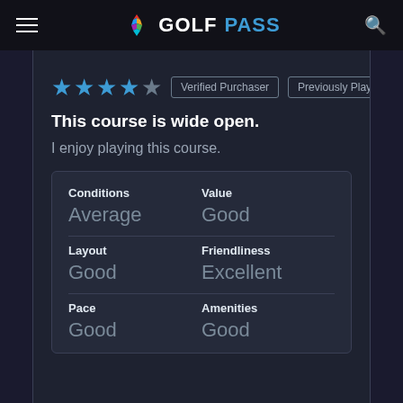GOLFPASS
★★★★☆ Verified Purchaser | Previously Played
This course is wide open.
I enjoy playing this course.
| Category | Rating |
| --- | --- |
| Conditions | Average |
| Value | Good |
| Layout | Good |
| Friendliness | Excellent |
| Pace | Good |
| Amenities | Good |